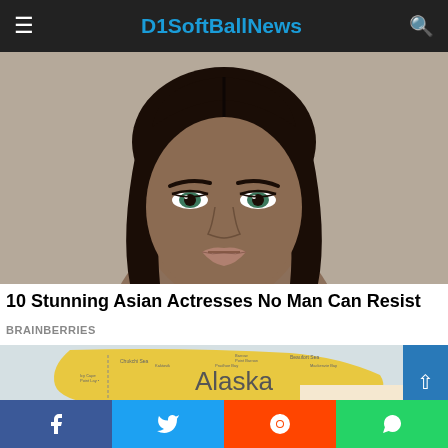D1SoftBallNews
[Figure (photo): Close-up portrait photo of a woman with dark hair, green eyes, and defined makeup against a neutral background]
10 Stunning Asian Actresses No Man Can Resist
BRAINBERRIES
[Figure (map): Map showing Alaska region highlighted in yellow/orange with surrounding geographic labels and Canada border]
[Figure (other): Social share bar with Facebook, Twitter, Reddit, and WhatsApp buttons]